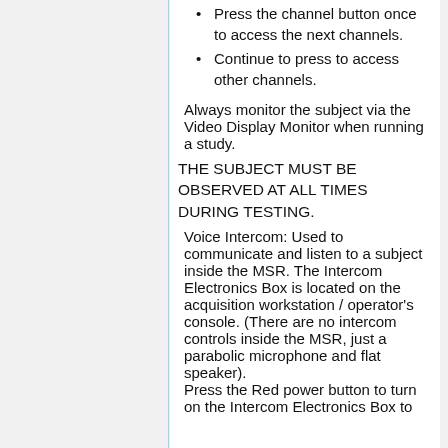Press the channel button once to access the next channels.
Continue to press to access other channels.
Always monitor the subject via the Video Display Monitor when running a study.
THE SUBJECT MUST BE OBSERVED AT ALL TIMES DURING TESTING.
Voice Intercom: Used to communicate and listen to a subject inside the MSR. The Intercom Electronics Box is located on the acquisition workstation / operator's console. (There are no intercom controls inside the MSR, just a parabolic microphone and flat speaker).
Press the Red power button to turn on the Intercom Electronics Box to